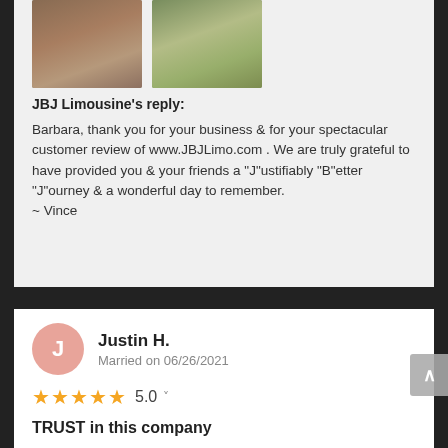[Figure (photo): Two photos side by side showing groups of people in pink clothing, appearing to be inside a limousine or party bus, celebrating.]
JBJ Limousine's reply:

Barbara, thank you for your business & for your spectacular customer review of www.JBJLimo.com . We are truly grateful to have provided you & your friends a "J"ustifiably "B"etter "J"ourney & a wonderful day to remember.
~ Vince
Justin H.
Married on 06/26/2021
5.0
TRUST in this company
Amazing company that I have used multiple times for my transportation needs, mostly for nights out or birthday parties. When it came to my 40th birthday a few weekend ago I didn't want to put